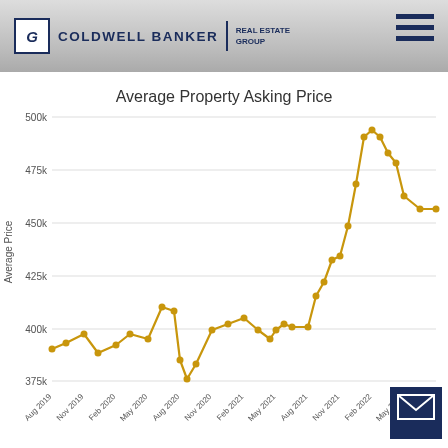[Figure (logo): Coldwell Banker Real Estate Group logo with blue text and icon]
[Figure (line-chart): Average Property Asking Price]